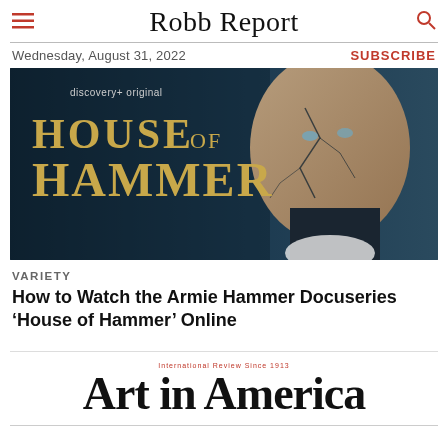Robb Report
Wednesday, August 31, 2022
SUBSCRIBE
[Figure (photo): Promotional image for 'House of Hammer' docuseries on discovery+ original, showing a man's face with cracked effect and gold serif title text 'HOUSE of HAMMER']
VARIETY
How to Watch the Armie Hammer Docuseries ‘House of Hammer’ Online
[Figure (logo): Art in America magazine logo with tagline 'International Review Since 1913']